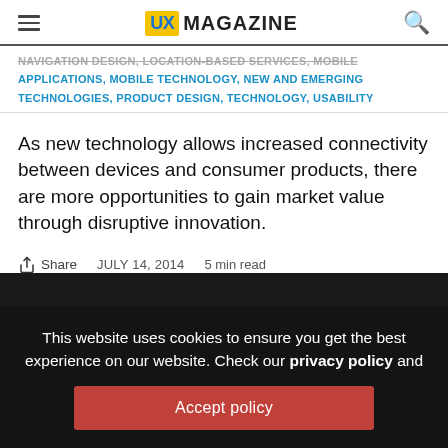UX MAGAZINE
NAVIGATION DESIGN, LOCATION-BASED SERVICES, MOBILE APPLICATIONS, MOBILE TECHNOLOGY, NEW AND EMERGING TECHNOLOGIES, PRODUCT DESIGN, TECHNOLOGY, USABILITY
As new technology allows increased connectivity between devices and consumer products, there are more opportunities to gain market value through disruptive innovation.
Share   JULY 14, 2014   5 min read
This website uses cookies to ensure you get the best experience on our website. Check our privacy policy and
Accept policy